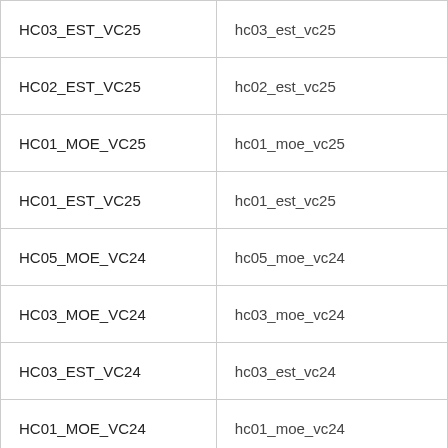| HC03_EST_VC25 | hc03_est_vc25 |
| HC02_EST_VC25 | hc02_est_vc25 |
| HC01_MOE_VC25 | hc01_moe_vc25 |
| HC01_EST_VC25 | hc01_est_vc25 |
| HC05_MOE_VC24 | hc05_moe_vc24 |
| HC03_MOE_VC24 | hc03_moe_vc24 |
| HC03_EST_VC24 | hc03_est_vc24 |
| HC01_MOE_VC24 | hc01_moe_vc24 |
| HC01_EST_VC24 | hc01_est_vc24 |
| HC03_EST_VC23 | hc03_est_vc23 |
| HC01_EST_VC23 | hc01_est_vc23 |
|  |  |